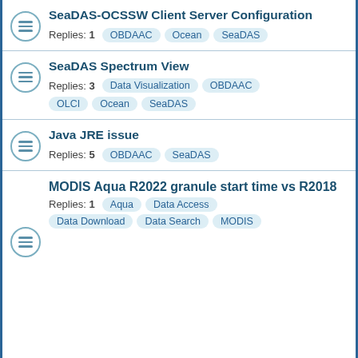SeaDAS-OCSSW Client Server Configuration
Replies: 1
Tags: OBDAAC, Ocean, SeaDAS
SeaDAS Spectrum View
Replies: 3
Tags: Data Visualization, OBDAAC, OLCI, Ocean, SeaDAS
Java JRE issue
Replies: 5
Tags: OBDAAC, SeaDAS
MODIS Aqua R2022 granule start time vs R2018
Replies: 1
Tags: Aqua, Data Access, Data Download, Data Search, MODIS